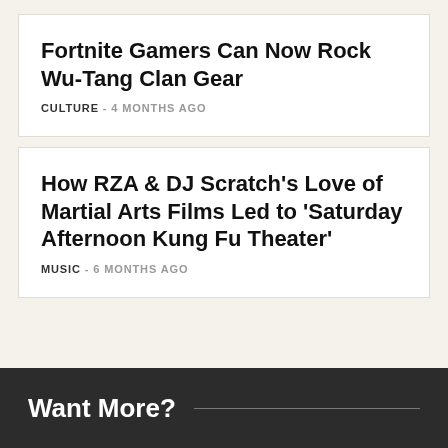Fortnite Gamers Can Now Rock Wu-Tang Clan Gear
CULTURE - 4 MONTHS AGO
How RZA & DJ Scratch's Love of Martial Arts Films Led to 'Saturday Afternoon Kung Fu Theater'
MUSIC - 6 MONTHS AGO
Want More?